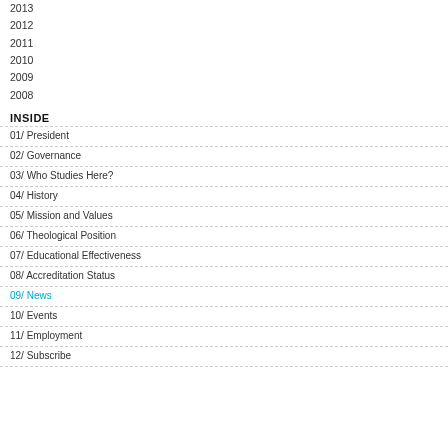2013
2012
2011
2010
2009
2008
INSIDE
01/ President
02/ Governance
03/ Who Studies Here?
04/ History
05/ Mission and Values
06/ Theological Position
07/ Educational Effectiveness
08/ Accreditation Status
09/ News
10/ Events
11/ Employment
12/ Subscribe